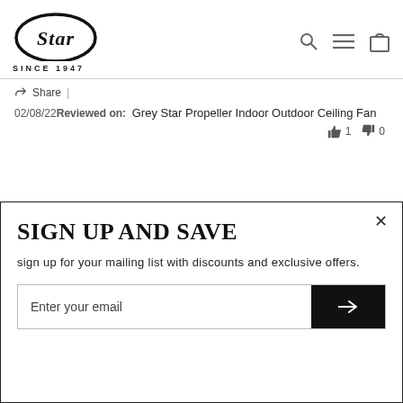[Figure (logo): Star brand logo — oval black border with italic cursive 'Star' text inside, and 'SINCE 1947' text below in spaced caps]
Share |
02/08/22 Reviewed on: Grey Star Propeller Indoor Outdoor Ceiling Fan
👍 1  👎 0
SIGN UP AND SAVE
sign up for your mailing list with discounts and exclusive offers.
Enter your email